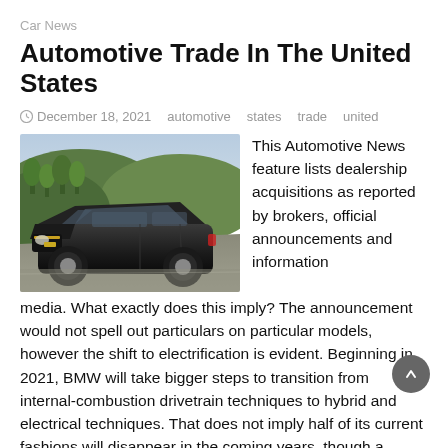Car News
Automotive Trade In The United States
December 18, 2021   automotive   states   trade   united
[Figure (photo): A black Chevrolet sedan driving on a road with trees and hills in the background]
This Automotive News feature lists dealership acquisitions as reported by brokers, official announcements and information media. What exactly does this imply? The announcement would not spell out particulars on particular models, however the shift to electrification is evident. Beginning in 2021, BMW will take bigger steps to transition from internal-combustion drivetrain techniques to hybrid and electrical techniques. That does not imply half of its current fashions will disappear in the coming years, though a thinning of the fleet is definitely possible. It